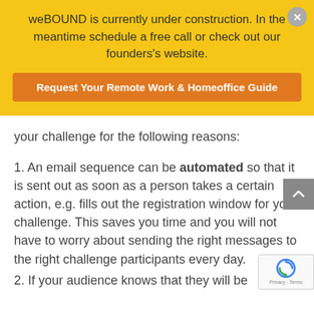weBOUND is currently under construction. In the meantime schedule a free call or check out our founders's website.
Request Your Remote Work & Homeoffice Guide
your challenge for the following reasons:
1. An email sequence can be automated so that it is sent out as soon as a person takes a certain action, e.g. fills out the registration window for your challenge. This saves you time and you will not have to worry about sending the right messages to the right challenge participants every day.
2. If your audience knows that they will be